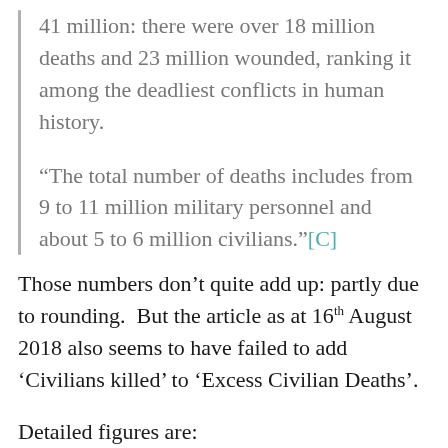41 million: there were over 18 million deaths and 23 million wounded, ranking it among the deadliest conflicts in human history.
"The total number of deaths includes from 9 to 11 million military personnel and about 5 to 6 million civilians."[C]
Those numbers don't quite add up: partly due to rounding.  But the article as at 16th August 2018 also seems to have failed to add ‘Civilians killed’ to ‘Excess Civilian Deaths’.
Detailed figures are: